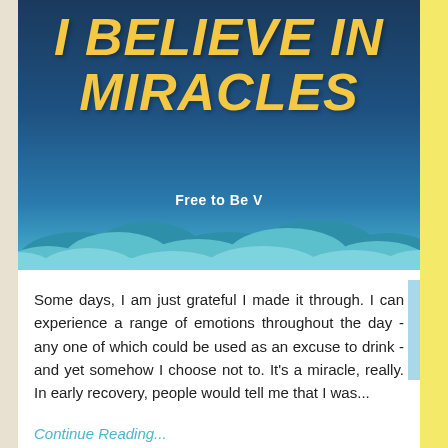[Figure (illustration): Book cover image with dark blue sky background, yellow brush-script title text 'I BELIEVE IN MIRACLES', subtitle 'Free to Be V', and stylized cloud shapes in teal/blue tones at the bottom]
I BELIEVE IN MIRACLES
Free to Be V
Some days, I am just grateful I made it through. I can experience a range of emotions throughout the day - any one of which could be used as an excuse to drink - and yet somehow I choose not to. It's a miracle, really. In early recovery, people would tell me that I was...
Continue Reading...